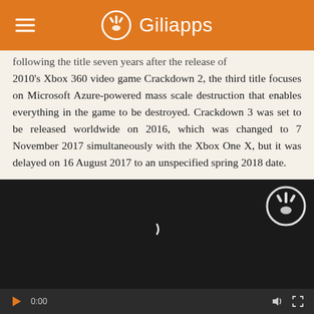Giliapps
...following the title seven years after the release of 2010's Xbox 360 video game Crackdown 2, the third title focuses on Microsoft Azure-powered mass scale destruction that enables everything in the game to be destroyed. Crackdown 3 was set to be released worldwide on 2016, which was changed to 7 November 2017 simultaneously with the Xbox One X, but it was delayed on 16 August 2017 to an unspecified spring 2018 date.
[Figure (screenshot): Dark video player with Giliapps watermark icon in top right, a loading spinner in the center, and a control bar at the bottom with play button, 0:00 timestamp, volume and fullscreen icons on orange/dark theme.]